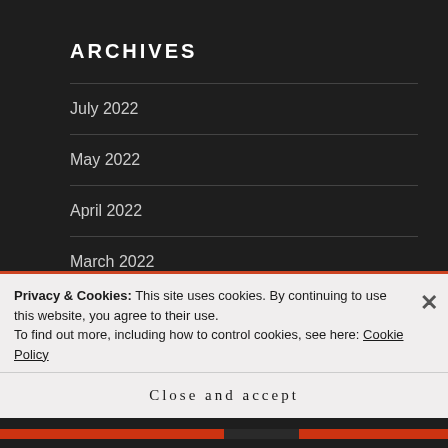ARCHIVES
July 2022
May 2022
April 2022
March 2022
February 2022
July 2021
Privacy & Cookies: This site uses cookies. By continuing to use this website, you agree to their use.
To find out more, including how to control cookies, see here: Cookie Policy
Close and accept